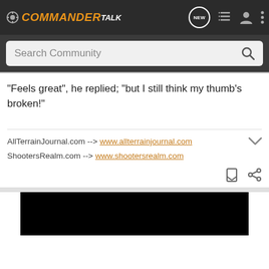COMMANDER TALK (logo with nav icons: NEW, list, user, more)
Search Community
"Feels great", he replied; "but I still think my thumb's broken!"
AllTerrainJournal.com --> www.allterrainjournal.com
ShootersRealm.com --> www.shootersrealm.com
[Figure (photo): Black image area at bottom of page]